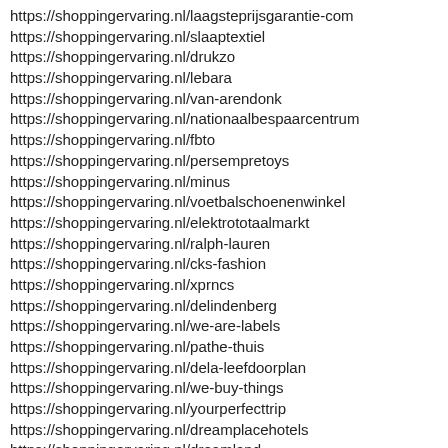https://shoppingervaring.nl/laagsteprijsgarantie-com
https://shoppingervaring.nl/slaaptextiel
https://shoppingervaring.nl/drukzo
https://shoppingervaring.nl/lebara https://shoppingervaring.nl/van-arendonk https://shoppingervaring.nl/nationaalbespaarcentrum
https://shoppingervaring.nl/fbto
https://shoppingervaring.nl/persempretoys
https://shoppingervaring.nl/minus
https://shoppingervaring.nl/voetbalschoenenwinkel
https://shoppingervaring.nl/elektrototaalmarkt
https://shoppingervaring.nl/ralph-lauren
https://shoppingervaring.nl/cks-fashion
https://shoppingervaring.nl/xprncs
https://shoppingervaring.nl/delindenberg
https://shoppingervaring.nl/we-are-labels
https://shoppingervaring.nl/pathe-thuis
https://shoppingervaring.nl/dela-leefdoorplan
https://shoppingervaring.nl/we-buy-things
https://shoppingervaring.nl/yourperfecttrip
https://shoppingervaring.nl/dreamplacehotels
https://shoppingervaring.nl/dreamland
https://shoppingervaring.nl/wtc-world-ticket-center
https://shoppingervaring.nl/tendi
https://shoppingervaring.nl/tomtop
https://shoppingervaring.nl/tramontana